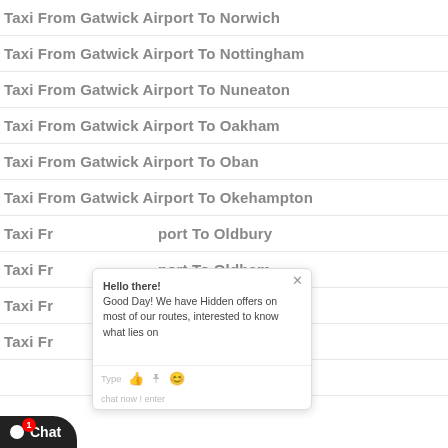Taxi From Gatwick Airport To Norwich
Taxi From Gatwick Airport To Nottingham
Taxi From Gatwick Airport To Nuneaton
Taxi From Gatwick Airport To Oakham
Taxi From Gatwick Airport To Oban
Taxi From Gatwick Airport To Okehampton
Taxi From Gatwick Airport To Oldbury
Taxi From Gatwick Airport To Oldham
Taxi From Gatwick Airport To Olney
Taxi From Gatwick Airport To Omagh
Taxi From Gatwick Airport To Ongar